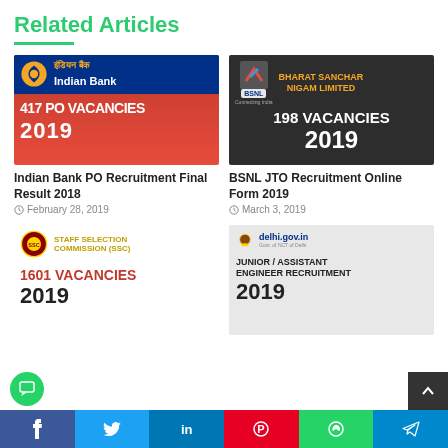Related Articles
[Figure (illustration): Indian Bank 417 PO Vacancies 2019 recruitment banner]
[Figure (illustration): BSNL 198 Vacancies 2019 recruitment banner]
Indian Bank PO Recruitment Final Result 2018
February 28, 2019
BSNL JTO Recruitment Online Form 2019
March 3, 2019
[Figure (illustration): SSC 1601 Vacancies 2019 Staff Selection Commission banner]
[Figure (illustration): Delhi.gov.in Junior/Assistant Engineer Recruitment 2019 banner]